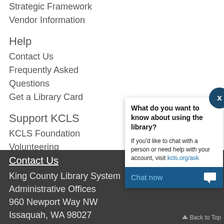Strategic Framework
Vendor Information
Help
Contact Us
Frequently Asked Questions
Get a Library Card
Support KCLS
KCLS Foundation
Volunteering
Friends of the Library
Contact Us
King County Library System
Administrative Offices
960 Newport Way NW
Issaquah, WA 98027
What do you want to know about using the library?

If you'd like to chat with a person or need help with your account, visit kcls.org/ask

Chat now